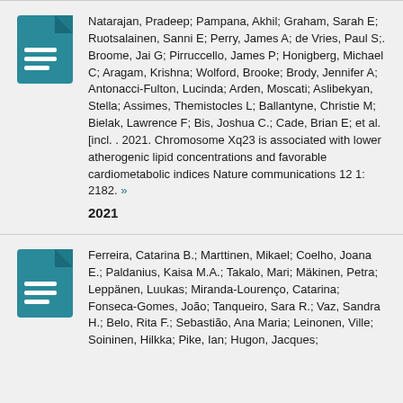Natarajan, Pradeep; Pampana, Akhil; Graham, Sarah E; Ruotsalainen, Sanni E; Perry, James A; de Vries, Paul S;. Broome, Jai G; Pirruccello, James P; Honigberg, Michael C; Aragam, Krishna; Wolford, Brooke; Brody, Jennifer A; Antonacci-Fulton, Lucinda; Arden, Moscati; Aslibekyan, Stella; Assimes, Themistocles L; Ballantyne, Christie M; Bielak, Lawrence F; Bis, Joshua C.; Cade, Brian E; et al. [incl. . 2021. Chromosome Xq23 is associated with lower atherogenic lipid concentrations and favorable cardiometabolic indices Nature communications 12 1: 2182. » 2021
Ferreira, Catarina B.; Marttinen, Mikael; Coelho, Joana E.; Paldanius, Kaisa M.A.; Takalo, Mari; Mäkinen, Petra; Leppänen, Luukas; Miranda-Lourenço, Catarina; Fonseca-Gomes, João; Tanqueiro, Sara R.; Vaz, Sandra H.; Belo, Rita F.; Sebastião, Ana Maria; Leinonen, Ville; Soininen, Hilkka; Pike, Ian; Hugon, Jacques;